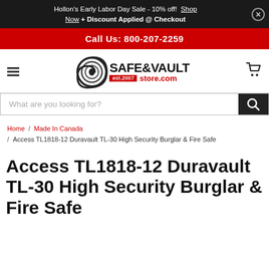Hollon's Early Labor Day Sale - 10% off! Shop Now + Discount Applied @ Checkout
Call Us: 800-207-2259
[Figure (logo): Safe & Vault Store.com logo with spiral eye graphic, est. 2007]
What are you looking for?
Home / Made In Canada / Access TL1818-12 Duravault TL-30 High Security Burglar & Fire Safe
Access TL1818-12 Duravault TL-30 High Security Burglar & Fire Safe